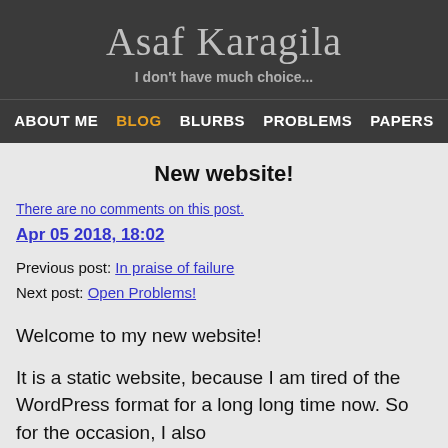Asaf Karagila
I don't have much choice...
ABOUT ME  BLOG  BLURBS  PROBLEMS  PAPERS
New website!
There are no comments on this post.
Apr 05 2018, 18:02
Previous post: In praise of failure
Next post: Open Problems!
Welcome to my new website!
It is a static website, because I am tired of the WordPress format for a long long time now. So for the occasion, I also